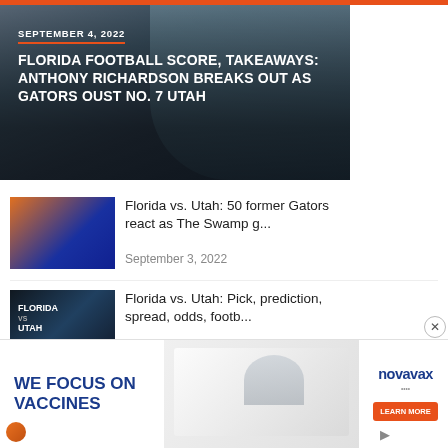[Figure (photo): Football player in Florida Gators uniform, hero image with overlay text]
FLORIDA FOOTBALL SCORE, TAKEAWAYS: ANTHONY RICHARDSON BREAKS OUT AS GATORS OUST NO. 7 UTAH
SEPTEMBER 4, 2022
[Figure (photo): Florida Gators football players thumbnail image]
Florida vs. Utah: 50 former Gators react as The Swamp g...
September 3, 2022
[Figure (photo): Florida vs Utah game graphic thumbnail]
Florida vs. Utah: Pick, prediction, spread, odds, footb...
September 3, 2022
[Figure (photo): Florida football stadium thumbnail image]
Florida Football Friday Final: Gators hope fourth time&...
September 2, 2022
[Figure (advertisement): Novavax vaccine advertisement: WE FOCUS ON VACCINES with scientists photo and Learn More button]